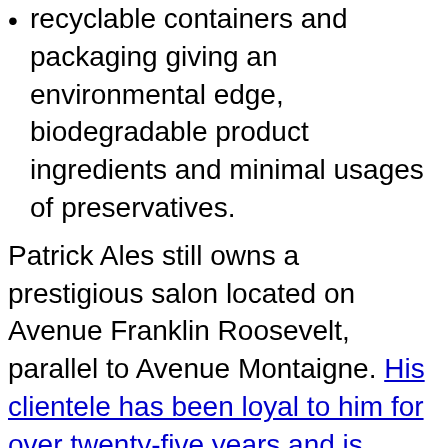recyclable containers and packaging giving an environmental edge, biodegradable product ingredients and minimal usages of preservatives.
Patrick Ales still owns a prestigious salon located on Avenue Franklin Roosevelt, parallel to Avenue Montaigne. His clientele has been loyal to him for over twenty-five years and is comprised of famous actors and well-known personalities. (Romain, Style Director of the salon, is in constant demand for couture shows and editorial shoots)